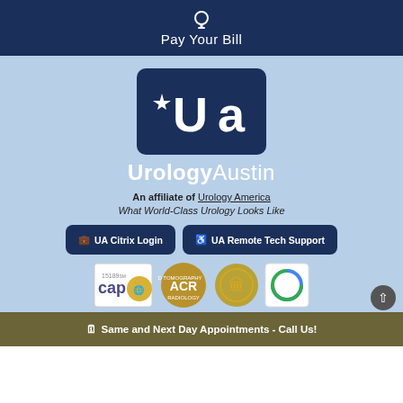Pay Your Bill
[Figure (logo): Urology Austin logo — dark navy rounded rectangle with white star and 'UA' letters, with text 'UrologyAustin' below]
An affiliate of Urology America
What World-Class Urology Looks Like
UA Citrix Login
UA Remote Tech Support
[Figure (logo): Row of accreditation badges: CAP 15189, ACR Computed Tomography Radiology, gold seal badge, and reCAPTCHA logo]
Same and Next Day Appointments - Call Us!